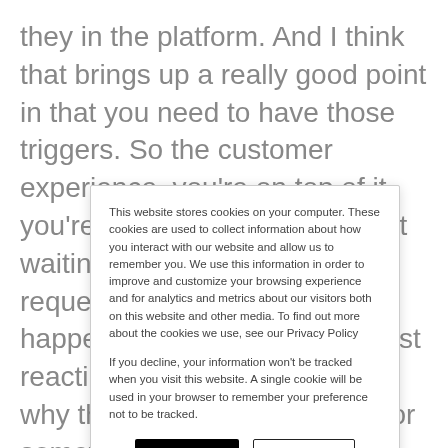they in the platform. And I think that brings up a really good point in that you need to have those triggers. So the customer experience, you're on top of it, you're proactive. You're not just waiting for the cancellation request, because nothing ever happened, right? And you're just reacting to Oh, like, I wonder why they canceled you know, or something like that. But it's
This website stores cookies on your computer. These cookies are used to collect information about how you interact with our website and allow us to remember you. We use this information in order to improve and customize your browsing experience and for analytics and metrics about our visitors both on this website and other media. To find out more about the cookies we use, see our Privacy Policy
If you decline, your information won't be tracked when you visit this website. A single cookie will be used in your browser to remember your preference not to be tracked.
Accept
Decline